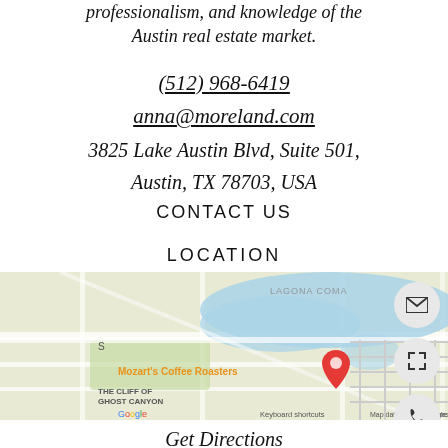professionalism, and knowledge of the Austin real estate market.
(512) 968-6419
anna@moreland.com
3825 Lake Austin Blvd, Suite 501,
Austin, TX 78703, USA
CONTACT US
LOCATION
[Figure (map): Google Maps showing location near Mozart's Coffee Roasters and The Cliff of Ghost Canyon, with a red pin marker. Map data ©2022 Google.]
Get Directions